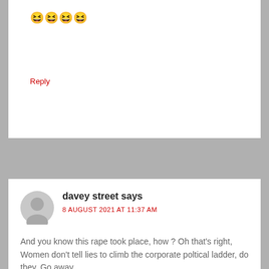😆😆😆😆
Reply
davey street says
8 AUGUST 2021 AT 11:37 AM
And you know this rape took place, how ? Oh that's right, Women don't tell lies to climb the corporate poltical ladder, do they. Go away.
Reply